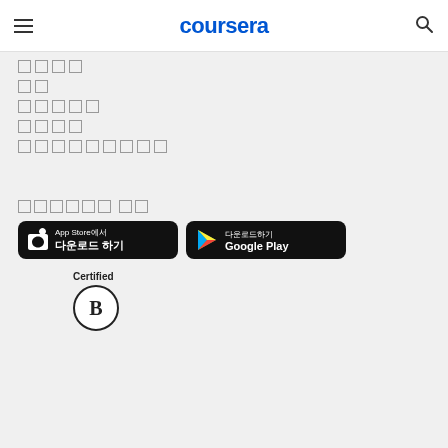coursera
□□□□
□□
□□□□□
□□□□
□□ □□ □□□□
□□□□□□ □□
[Figure (logo): App Store에서 다운로드 하기 button]
[Figure (logo): 다운로드하기 Google Play button]
[Figure (logo): Certified B Corporation logo]